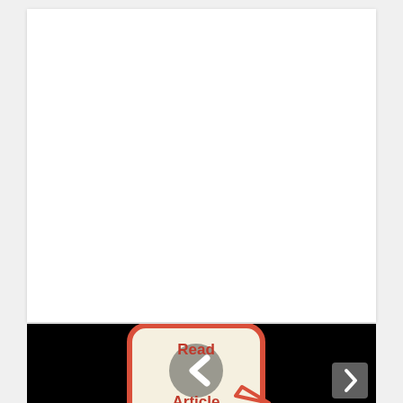[Figure (illustration): White blank area occupying the upper portion of the page]
[Figure (logo): Black background with a speech bubble icon containing text 'Read Article' and a left-arrow chevron circle in the center, styled in red/coral and cream colors]